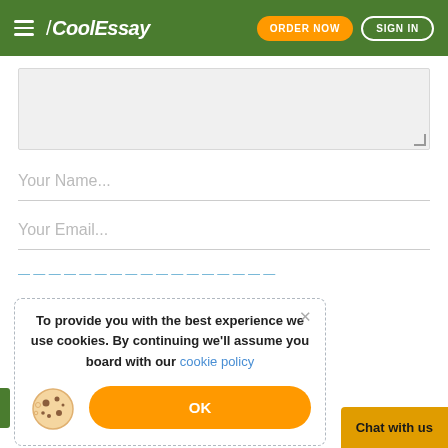CoolEssay — ORDER NOW | SIGN IN
[Figure (screenshot): Textarea input field with light gray background]
Your Name...
Your Email...
To provide you with the best experience we use cookies. By continuing we'll assume you board with our cookie policy
OK
Chat with us